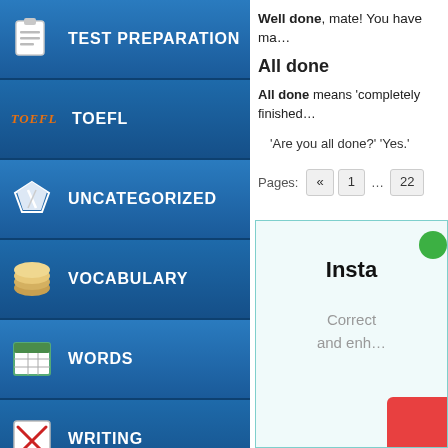TEST PREPARATION
TOEFL
UNCATEGORIZED
VOCABULARY
WORDS
WRITING
Follow @ESLUpdates
Well done, mate! You have ma…
All done
All done means 'completely finished…
'Are you all done?' 'Yes.'
Pages: « 1 … 22
[Figure (screenshot): Insta widget box with green dot, bold 'Insta' title, 'Correct and enh…' text, and red button at bottom right]